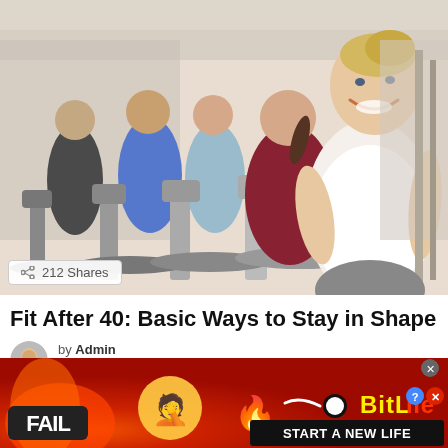[Figure (photo): People running on treadmills in a gym. A smiling middle-aged blonde woman in a white tank top is in the foreground; other people in workout clothes are visible behind her on treadmills. Share badge shows '212 Shares'.]
Fit After 40: Basic Ways to Stay in Shape
by Admin
2 months ago
[Figure (photo): Advertisement banner: BitLife game ad with red/fire background, 'FAIL' text, facepalm emoji, flame emoji, and 'START A NEW LIFE' text. Contains a close button (X).]